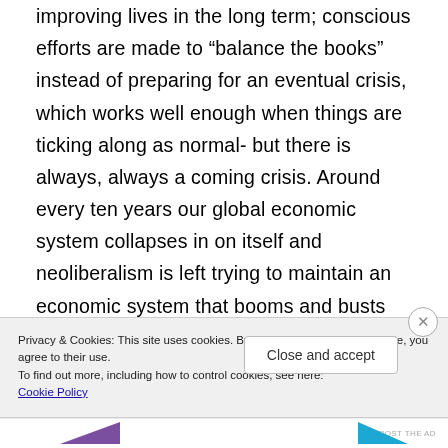improving lives in the long term; conscious efforts are made to “balance the books” instead of preparing for an eventual crisis, which works well enough when things are ticking along as normal- but there is always, always a coming crisis. Around every ten years our global economic system collapses in on itself and neoliberalism is left trying to maintain an economic system that booms and busts like clockwork, all the while imposing a social system where people are left to fend for themselves
Privacy & Cookies: This site uses cookies. By continuing to use this website, you agree to their use.
To find out more, including how to control cookies, see here: Cookie Policy
Close and accept